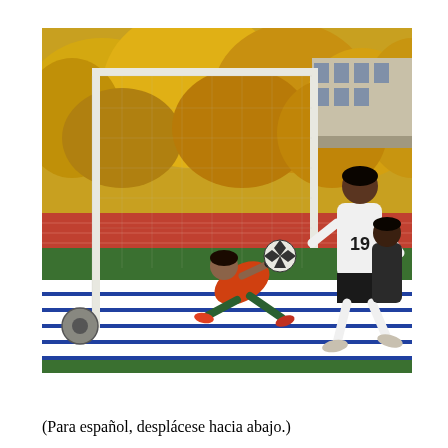[Figure (photo): A soccer goalkeeper in an orange jersey diving to block a shot, with a player wearing number 19 in white uniform nearby. The field has a blue and white striped area near the goal. Yellow autumn trees are visible in the background along with a red running track and a building.]
(Para español, desplácese hacia abajo.)